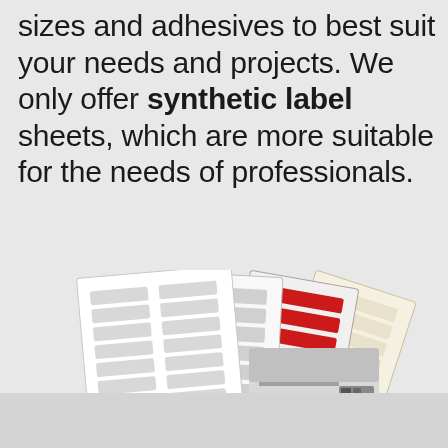sizes and adhesives to best suit your needs and projects. We only offer synthetic label sheets, which are more suitable for the needs of professionals.
[Figure (illustration): Illustration showing multiple label sheets (white, red/dark-red, and cream/beige colored label sheets fanned out) alongside a laser printer/multifunction device.]